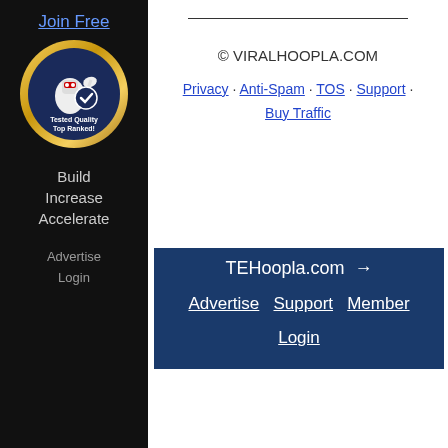Join Free
[Figure (illustration): Robot mascot badge with gold border, text: Tested Quality Top Ranked!]
Build
Increase
Accelerate
Advertise
Login
© VIRALHOOPLA.COM
Privacy · Anti-Spam · TOS · Support · Buy Traffic
TEHoopla.com →
Advertise  Support  Member Login